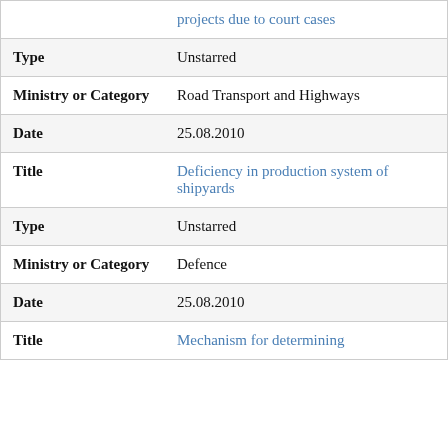| Field | Value |
| --- | --- |
|  | projects due to court cases |
| Type | Unstarred |
| Ministry or Category | Road Transport and Highways |
| Date | 25.08.2010 |
| Title | Deficiency in production system of shipyards |
| Type | Unstarred |
| Ministry or Category | Defence |
| Date | 25.08.2010 |
| Title | Mechanism for determining |